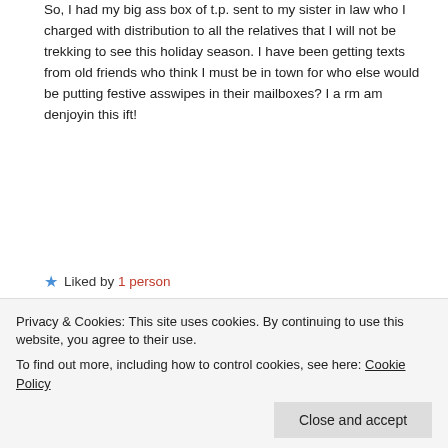So, I had my big ass box of t.p. sent to my sister in law who I charged with distribution to all the relatives that I will not be trekking to see this holiday season. I have been getting texts from old friends who think I must be in town for who else would be putting festive asswipes in their mailboxes? I a rm am denjoyin this ift!
★ Liked by 1 person
Reply
Sarah Brentyn
DECEMBER 30, 2019 AT 5:55 PM
Privacy & Cookies: This site uses cookies. By continuing to use this website, you agree to their use.
To find out more, including how to control cookies, see here: Cookie Policy
Close and accept